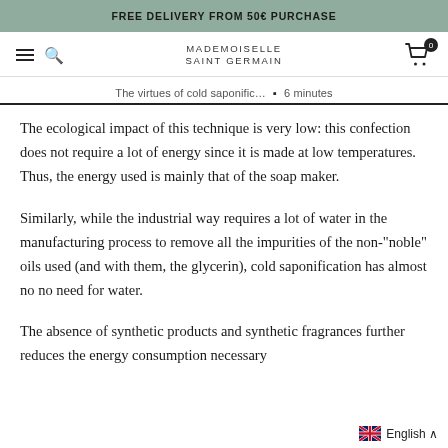FREE DELIVERY FROM 50€ PURCHASE
MADEMOISELLE SAINT GERMAIN
The virtues of cold saponific...  ▪  6 minutes
The ecological impact of this technique is very low: this confection does not require a lot of energy since it is made at low temperatures. Thus, the energy used is mainly that of the soap maker.
Similarly, while the industrial way requires a lot of water in the manufacturing process to remove all the impurities of the non-"noble" oils used (and with them, the glycerin), cold saponification has almost no no need for water.
The absence of synthetic products and synthetic fragrances further reduces the energy consumption necessary
🇬🇧 English ∧